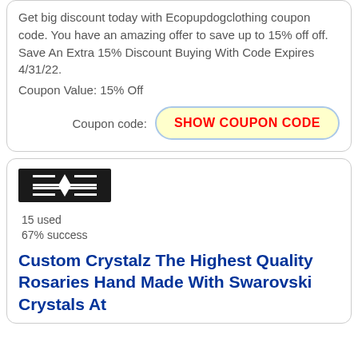Get big discount today with Ecopupdogclothing coupon code. You have an amazing offer to save up to 15% off off. Save An Extra 15% Discount Buying With Code Expires 4/31/22.
Coupon Value: 15% Off
Coupon code: SHOW COUPON CODE
[Figure (logo): Black rectangular logo with white geometric diamond/bowtie symbol and horizontal bars]
15 used
67% success
Custom Crystalz The Highest Quality Rosaries Hand Made With Swarovski Crystals At